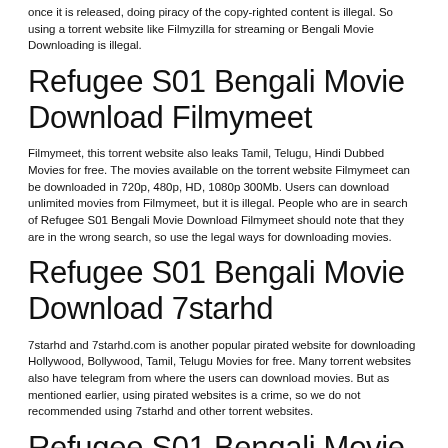once it is released, doing piracy of the copy-righted content is illegal. So using a torrent website like Filmyzilla for streaming or Bengali Movie Downloading is illegal.
Refugee S01 Bengali Movie Download Filmymeet
Filmymeet, this torrent website also leaks Tamil, Telugu, Hindi Dubbed Movies for free. The movies available on the torrent website Filmymeet can be downloaded in 720p, 480p, HD, 1080p 300Mb. Users can download unlimited movies from Filmymeet, but it is illegal. People who are in search of Refugee S01 Bengali Movie Download Filmymeet should note that they are in the wrong search, so use the legal ways for downloading movies.
Refugee S01 Bengali Movie Download 7starhd
7starhd and 7starhd.com is another popular pirated website for downloading Hollywood, Bollywood, Tamil, Telugu Movies for free. Many torrent websites also have telegram from where the users can download movies. But as mentioned earlier, using pirated websites is a crime, so we do not recommended using 7starhd and other torrent websites.
Refugee S01 Bengali Movie Download Movieflix